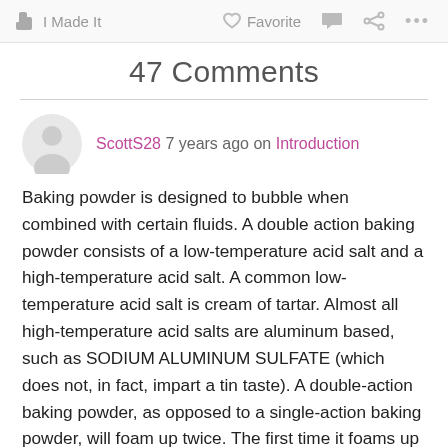✋ I Made It   ♡ Favorite  💬  🔗  ...
47 Comments
ScottS28 7 years ago on Introduction
Baking powder is designed to bubble when combined with certain fluids. A double action baking powder consists of a low-temperature acid salt and a high-temperature acid salt. A common low-temperature acid salt is cream of tartar. Almost all high-temperature acid salts are aluminum based, such as SODIUM ALUMINUM SULFATE (which does not, in fact, impart a tin taste). A double-action baking powder, as opposed to a single-action baking powder, will foam up twice. The first time it foams up is when introduced to certain fluids and the second time is when those fluids are heated. Unless you're a very fast baker, your initial foam from